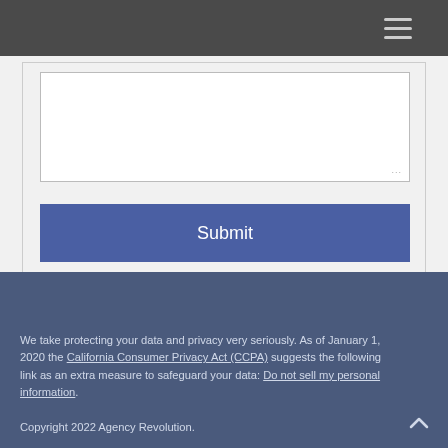[Figure (screenshot): A large empty text area input field with a resize handle at the bottom right corner]
[Figure (screenshot): A blue Submit button]
We take protecting your data and privacy very seriously. As of January 1, 2020 the California Consumer Privacy Act (CCPA) suggests the following link as an extra measure to safeguard your data: Do not sell my personal information.
Copyright 2022 Agency Revolution.